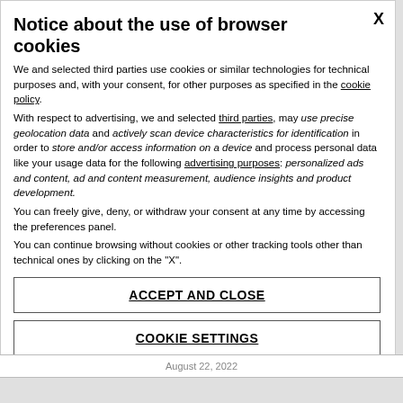Notice about the use of browser cookies
We and selected third parties use cookies or similar technologies for technical purposes and, with your consent, for other purposes as specified in the cookie policy. With respect to advertising, we and selected third parties, may use precise geolocation data and actively scan device characteristics for identification in order to store and/or access information on a device and process personal data like your usage data for the following advertising purposes: personalized ads and content, ad and content measurement, audience insights and product development. You can freely give, deny, or withdraw your consent at any time by accessing the preferences panel. You can continue browsing without cookies or other tracking tools other than technical ones by clicking on the "X".
ACCEPT AND CLOSE
COOKIE SETTINGS
August 22, 2022